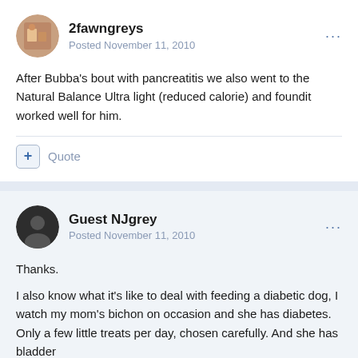2fawngreys
Posted November 11, 2010
After Bubba's bout with pancreatitis we also went to the Natural Balance Ultra light (reduced calorie) and foundit worked well for him.
+ Quote
Guest NJgrey
Posted November 11, 2010
Thanks.
I also know what it's like to deal with feeding a diabetic dog, I watch my mom's bichon on occasion and she has diabetes. Only a few little treats per day, chosen carefully. And she has bladder